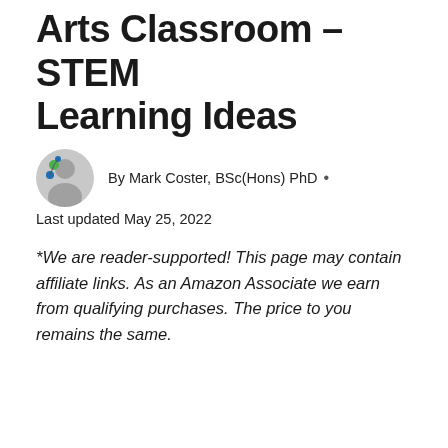Arts Classroom – STEM Learning Ideas
[Figure (photo): Circular avatar photo of Mark Coster, a man with glasses]
By Mark Coster, BSc(Hons) PhD •
Last updated May 25, 2022
*We are reader-supported! This page may contain affiliate links. As an Amazon Associate we earn from qualifying purchases. The price to you remains the same.